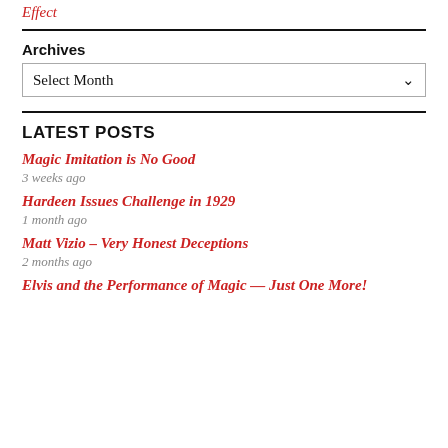Effect
Archives
Select Month
LATEST POSTS
Magic Imitation is No Good
3 weeks ago
Hardeen Issues Challenge in 1929
1 month ago
Matt Vizio – Very Honest Deceptions
2 months ago
Elvis and the Performance of Magic — Just One More!